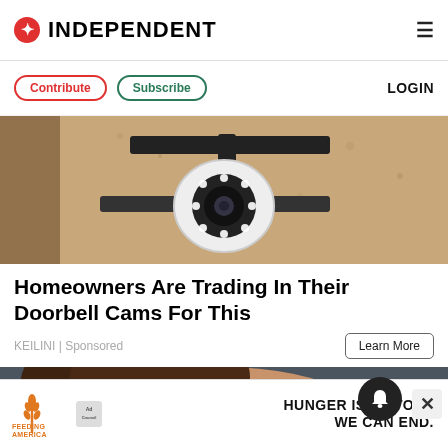INDEPENDENT
Contribute | Subscribe | LOGIN
[Figure (photo): Close-up of a security camera mounted on a wall bracket, white cylindrical camera body with LED ring, mounted on dark metal arm against textured beige wall.]
Homeowners Are Trading In Their Doorbell Cams For This
KEILINI | Sponsored
Learn More
[Figure (photo): Close-up portrait of a woman with long brown hair, looking slightly upward, blurred dark background.]
[Figure (infographic): Advertisement banner: Feeding America Ad Council logo on left, text 'HUNGER IS A STORY WE CAN END.' on right in bold black.]